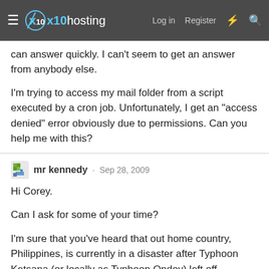x10hosting — Log in  Register
can answer quickly. I can't seem to get an answer from anybody else.

I'm trying to access my mail folder from a script executed by a cron job. Unfortunately, I get an "access denied" error obviously due to permissions. Can you help me with this?
mr kennedy · Sep 28, 2009

Hi Corey.

Can I ask for some of your time?

I'm sure that you've heard that out home country, Philippines, is currently in a disaster after Typhoon Ketsana (or locally as Typhoon Ondoy) left off...

I'd just like to ask of you, if it's not too much, to please spread the word to all of x10Hosting.